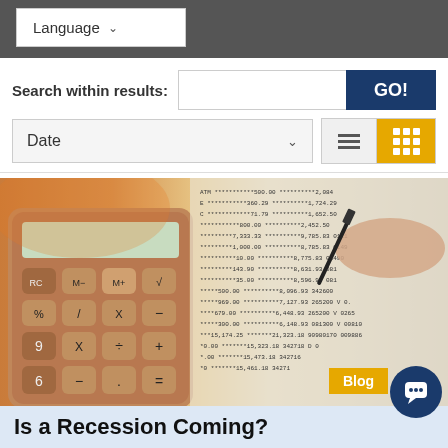Language
Search within results:
GO!
Date
[Figure (photo): A calculator next to a bank statement showing financial figures, with a hand holding a pen reviewing the statement]
Blog
Is a Recession Coming?